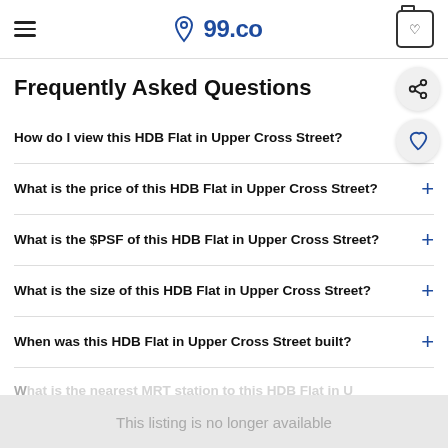99.co
Frequently Asked Questions
How do I view this HDB Flat in Upper Cross Street?
What is the price of this HDB Flat in Upper Cross Street?
What is the $PSF of this HDB Flat in Upper Cross Street?
What is the size of this HDB Flat in Upper Cross Street?
When was this HDB Flat in Upper Cross Street built?
This listing is no longer available